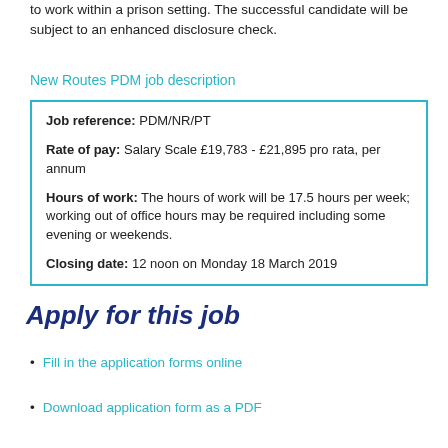to work within a prison setting. The successful candidate will be subject to an enhanced disclosure check.
New Routes PDM job description
| Job reference: PDM/NR/PT |
| Rate of pay: Salary Scale £19,783 - £21,895 pro rata, per annum |
| Hours of work: The hours of work will be 17.5 hours per week; working out of office hours may be required including some evening or weekends. |
| Closing date: 12 noon on Monday 18 March 2019 |
Apply for this job
Fill in the application forms online
Download application form as a PDF